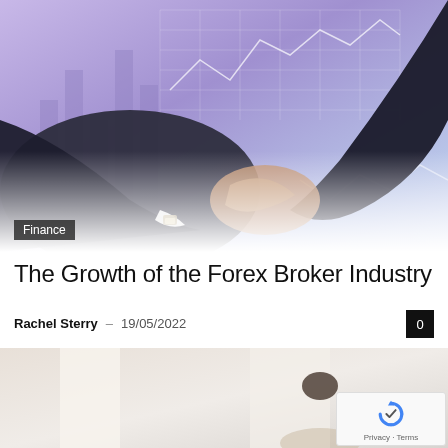[Figure (photo): Two businessmen in dark suits shaking hands against a financial chart background with blue/purple tones]
Finance
The Growth of the Forex Broker Industry
Rachel Sterry – 19/05/2022
[Figure (photo): A person viewed from behind looking out a window, second article image]
[Figure (logo): reCAPTCHA badge with Privacy and Terms text]